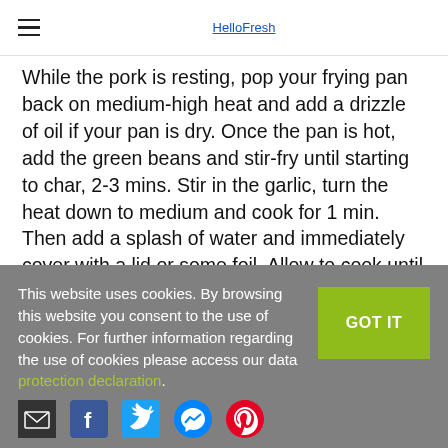HelloFresh
While the pork is resting, pop your frying pan back on medium-high heat and add a drizzle of oil if your pan is dry. Once the pan is hot, add the green beans and stir-fry until starting to char, 2-3 mins. Stir in the garlic, turn the heat down to medium and cook for 1 min. Then add a splash of water and immediately cover with a lid or some foil. Allow to cook until the beans are tender, 4-5 mins. Remove the pan from the heat.
This website uses cookies. By browsing this website you consent to the use of cookies. For further information regarding the use of cookies please access our data protection declaration.